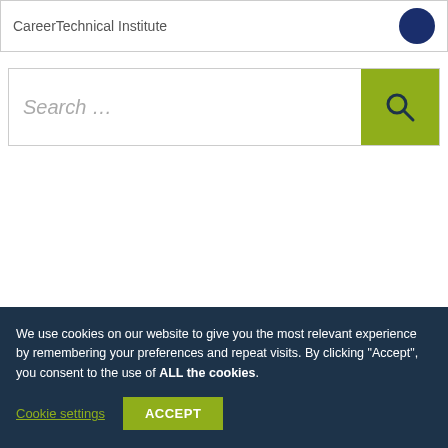CareerTechnical Institute
[Figure (logo): Dark navy blue circular logo for CareerTechnical Institute]
Search …
We use cookies on our website to give you the most relevant experience by remembering your preferences and repeat visits. By clicking "Accept", you consent to the use of ALL the cookies.
Cookie settings
ACCEPT